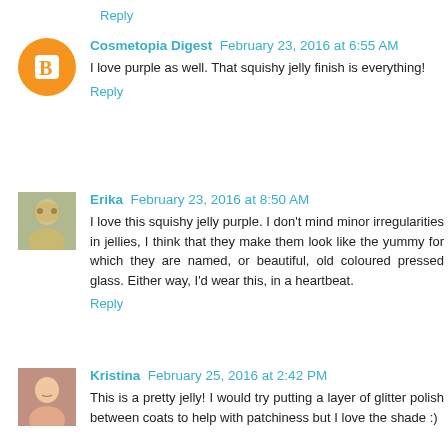Reply
Cosmetopia Digest  February 23, 2016 at 6:55 AM
I love purple as well. That squishy jelly finish is everything!
Reply
Erika  February 23, 2016 at 8:50 AM
I love this squishy jelly purple. I don't mind minor irregularities in jellies, I think that they make them look like the yummy for which they are named, or beautiful, old coloured pressed glass. Either way, I'd wear this, in a heartbeat.
Reply
Kristina  February 25, 2016 at 2:42 PM
This is a pretty jelly! I would try putting a layer of glitter polish between coats to help with patchiness but I love the shade :)